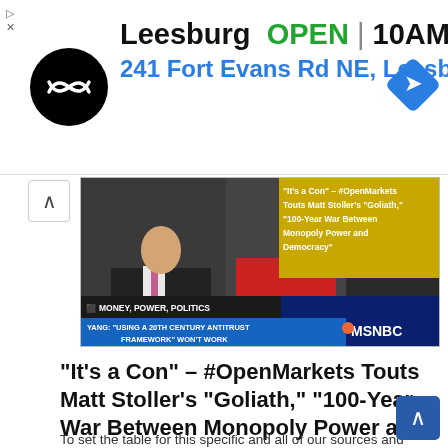[Figure (infographic): Advertisement banner for a store in Leesburg showing logo, OPEN status, hours 10AM-9PM, and address 241 Fort Evans Rd NE, Leesb with a navigation diamond icon]
[Figure (screenshot): MSNBC TV screenshot showing Money, Power, Politics segment with Yang discussing antitrust, with overlay text about OpenMarkets and Matt Stoller's Goliath book]
“It’s a Con” – #OpenMarkets Touts Matt Stoller’s “Goliath,” “100-Year War Between Monopoly Power and Democracy”
To set the table for this specific and all of our sources and reports, thinking readers must be able to sift through the chaff and save the wheat. The Open Markets Institute is certainly one of the more aggressive